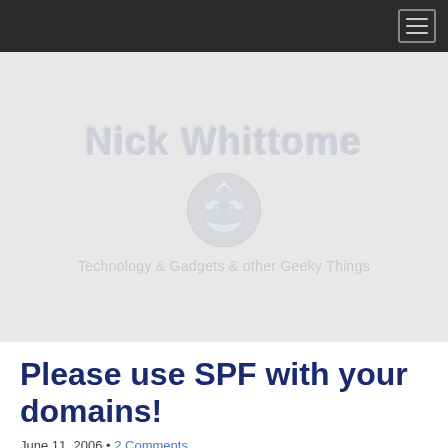Nick Whittome — Technology & Gadgets & other Geeky Things
Please use SPF with your domains!
June 11, 2006 • 2 Comments